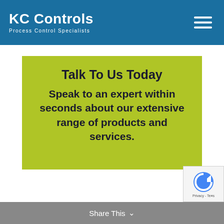KC Controls Process Control Specialists
Talk To Us Today
Speak to an expert within seconds about our extensive range of products and services.
Share This